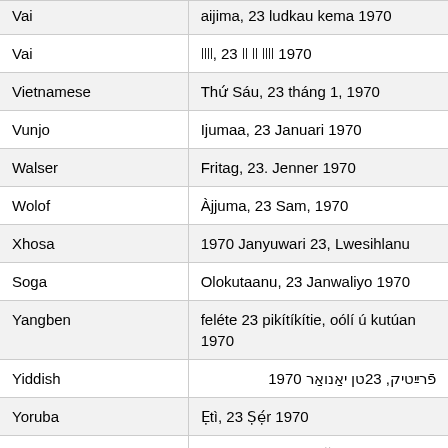| Language | Date Format |
| --- | --- |
| Vai | aijima, 23 ludkau kema 1970 |
| Vai | ꕉꕉꕉꕉ, 23 ꕉꕉ ꕉꕉ ꕉꕉꕉꕉ 1970 |
| Vietnamese | Thứ Sáu, 23 tháng 1, 1970 |
| Vunjo | Ijumaa, 23 Januari 1970 |
| Walser | Fritag, 23. Jenner 1970 |
| Wolof | Àjjuma, 23 Sam, 1970 |
| Xhosa | 1970 Janyuwari 23, Lwesihlanu |
| Soga | Olokutaanu, 23 Janwaliyo 1970 |
| Yangben | feléte 23 pikítíkítie, oólí ú kutúan 1970 |
| Yiddish | פֿרײַטיק, 23טן יאַנואַר 1970 |
| Yoruba | Ẹtì, 23 Ṣẹ́r 1970 |
| Cantonese | 1970年1月23日 星期五 |
| Cantonese | 1970年1月23日星期五 |
| Cantonese | 1970年1月23日 星期五 |
| Standard Moroccan | ⴰⵙⵉⵎⵡⴰⵙ 23 ⵢⵏⵏⴰⵢⵔ 1970 |